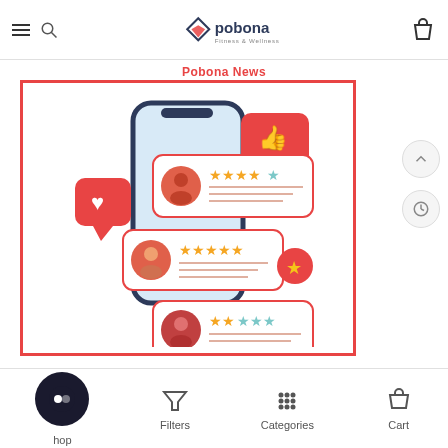pobona Fitness & Wellness
Pobona News
[Figure (illustration): Illustration of a smartphone showing customer review cards with star ratings, user avatar icons, and social reaction icons (heart, thumbs up, gold star). Three review cards are visible: top card shows 4 out of 5 stars, middle card shows 5 out of 5 stars, bottom card shows 2.5 out of 5 stars. Red heart speech bubble on left, red thumbs-up speech bubble on top right, red star badge on right.]
Shop | Filters | Categories | Cart